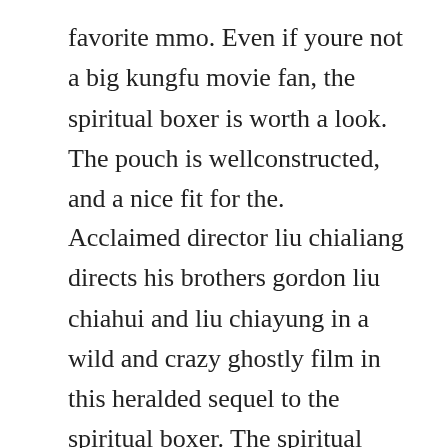favorite mmo. Even if youre not a big kungfu movie fan, the spiritual boxer is worth a look. The pouch is wellconstructed, and a nice fit for the.
Acclaimed director liu chialiang directs his brothers gordon liu chiahui and liu chiayung in a wild and crazy ghostly film in this heralded sequel to the spiritual boxer. The spiritual boxer 1975 shaw brothers official trailer. Boxer software is the developer of a line of awardwinning text processing products. May 30, 2015 a cute, spunky